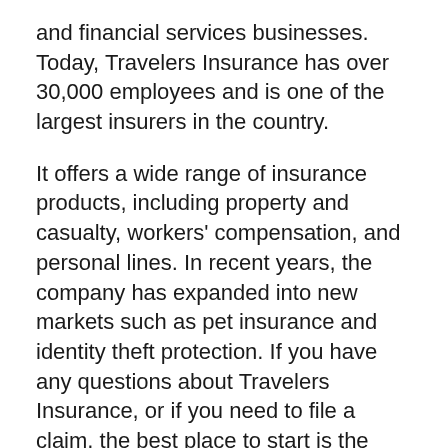and financial services businesses. Today, Travelers Insurance has over 30,000 employees and is one of the largest insurers in the country.
It offers a wide range of insurance products, including property and casualty, workers' compensation, and personal lines. In recent years, the company has expanded into new markets such as pet insurance and identity theft protection. If you have any questions about Travelers Insurance, or if you need to file a claim, the best place to start is the company's website.
Travelers insurance phone number